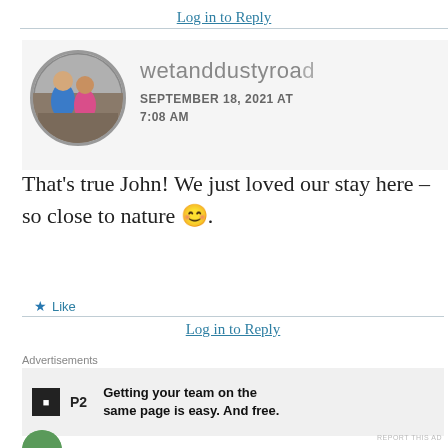Log in to Reply
[Figure (photo): Circular avatar photo of two people in a gym setting, a man in blue shirt and woman in pink shirt]
wetanddustyroad
SEPTEMBER 18, 2021 AT 7:08 AM
That's true John! We just loved our stay here – so close to nature 😊.
★ Like
Log in to Reply
Advertisements
[Figure (screenshot): Advertisement: P2 logo with text 'Getting your team on the same page is easy. And free.']
REPORT THIS AD